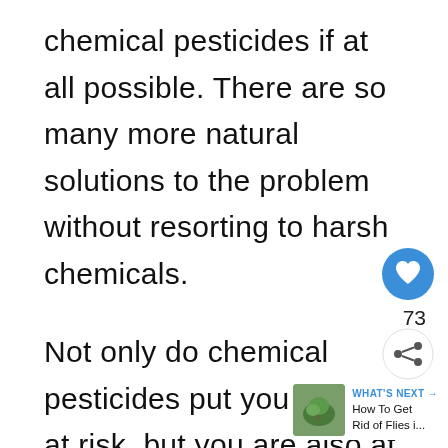chemical pesticides if at all possible. There are so many more natural solutions to the problem without resorting to harsh chemicals.
Not only do chemical pesticides put your plants at risk, but you are also at risk of harm. Whether inhaled or absorbed through the skin, pesticides can cause a host of health problems for any gardener of any age.
[Figure (other): Blue circular heart/like button (social widget) with count '73' and share icon below it]
[Figure (other): What's Next widget showing a thumbnail image and text 'How To Get Rid of Flies i...']